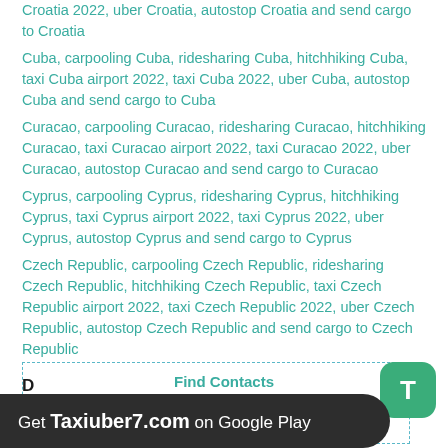Croatia 2022, uber Croatia, autostop Croatia and send cargo to Croatia
Cuba, carpooling Cuba, ridesharing Cuba, hitchhiking Cuba, taxi Cuba airport 2022, taxi Cuba 2022, uber Cuba, autostop Cuba and send cargo to Cuba
Curacao, carpooling Curacao, ridesharing Curacao, hitchhiking Curacao, taxi Curacao airport 2022, taxi Curacao 2022, uber Curacao, autostop Curacao and send cargo to Curacao
Cyprus, carpooling Cyprus, ridesharing Cyprus, hitchhiking Cyprus, taxi Cyprus airport 2022, taxi Cyprus 2022, uber Cyprus, autostop Cyprus and send cargo to Cyprus
Czech Republic, carpooling Czech Republic, ridesharing Czech Republic, hitchhiking Czech Republic, taxi Czech Republic airport 2022, taxi Czech Republic 2022, uber Czech Republic, autostop Czech Republic and send cargo to Czech Republic
D
Find Contacts